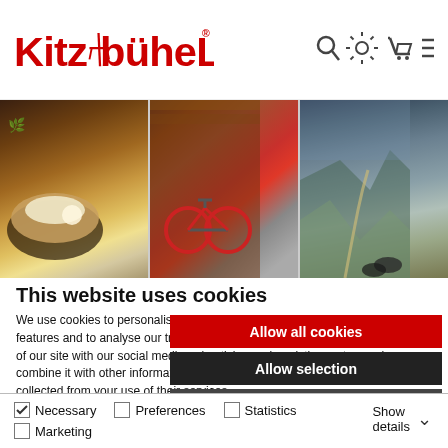[Figure (logo): Kitzbühel red logo with stylized chair graphic]
[Figure (photo): Three panel image strip: left panel shows food dish with cream sauce, middle panel shows a mountain bike leaning against a wooden hut, right panel shows mountain landscape with pathway]
This website uses cookies
We use cookies to personalise content and ads, to provide social media features and to analyse our traffic. We also share information about your use of our site with our social media, advertising and analytics partners who may combine it with other information that you've provided to them or that they've collected from your use of their services.
Allow all cookies
Allow selection
Use necessary cookies only
Necessary
Preferences
Statistics
Marketing
Show details